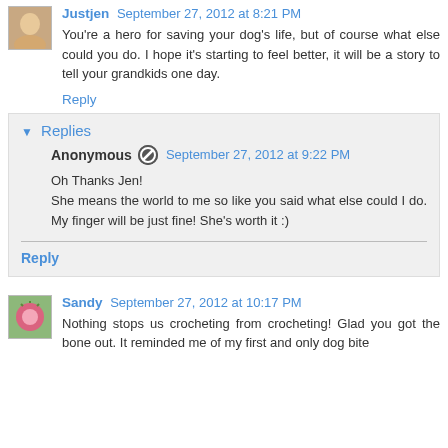Justjen September 27, 2012 at 8:21 PM
You're a hero for saving your dog's life, but of course what else could you do. I hope it's starting to feel better, it will be a story to tell your grandkids one day.
Reply
Replies
Anonymous September 27, 2012 at 9:22 PM
Oh Thanks Jen!
She means the world to me so like you said what else could I do. My finger will be just fine! She's worth it :)
Reply
Sandy September 27, 2012 at 10:17 PM
Nothing stops us crocheting from crocheting! Glad you got the bone out. It reminded me of my first and only dog bite